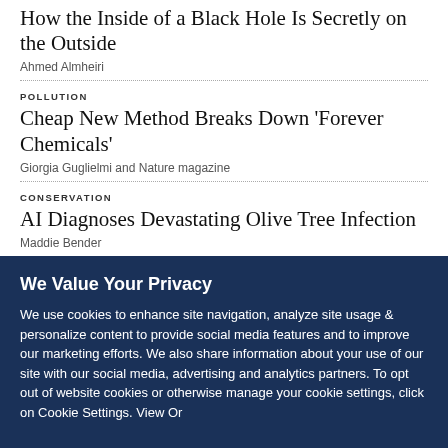How the Inside of a Black Hole Is Secretly on the Outside
Ahmed Almheiri
POLLUTION
Cheap New Method Breaks Down 'Forever Chemicals'
Giorgia Guglielmi and Nature magazine
CONSERVATION
AI Diagnoses Devastating Olive Tree Infection
Maddie Bender
We Value Your Privacy
We use cookies to enhance site navigation, analyze site usage & personalize content to provide social media features and to improve our marketing efforts. We also share information about your use of our site with our social media, advertising and analytics partners. To opt out of website cookies or otherwise manage your cookie settings, click on Cookie Settings. View Or